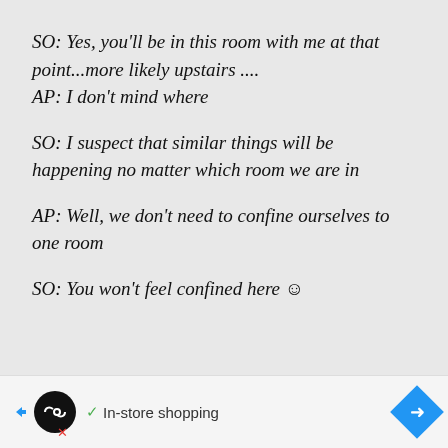SO:  Yes, you'll be in this room with me at that point...more likely upstairs ....
AP:  I don't mind where
SO:  I suspect that similar things will be happening no matter which room we are in
AP:  Well, we don't need to confine ourselves to one room
SO:  You won't feel confined here ☺
[Figure (other): Advertisement bar: In-store shopping with loop icon, checkmark, and blue diamond arrow icon]